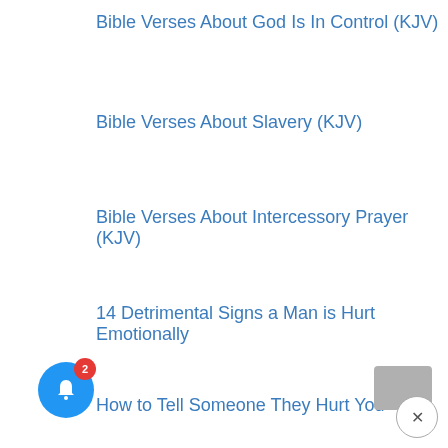Bible Verses About God Is In Control (KJV)
Bible Verses About Slavery (KJV)
Bible Verses About Intercessory Prayer (KJV)
14 Detrimental Signs a Man is Hurt Emotionally
How to Tell Someone They Hurt You
COPYRIGHT © 2017-2022 INSPIRINGTIPS.COM ALL RIGHTS RESERVED.
AN ELITE CAFEMEDIA FAMILY & PARENTING PUBLISHER